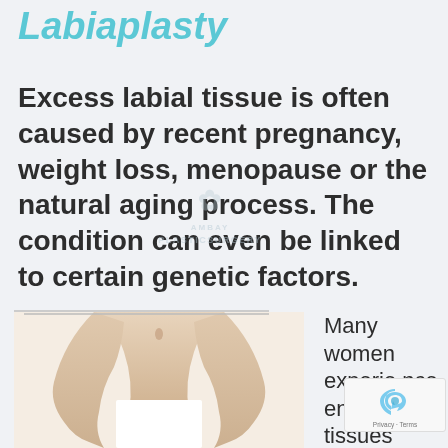Labiaplasty
Excess labial tissue is often caused by recent pregnancy, weight loss, menopause or the natural aging process. The condition can even be linked to certain genetic factors.
[Figure (photo): Medical/anatomical photo of a woman's torso with a white card covering the intimate area, used in a labiaplasty information page. Watermark reads AMBAY PLASTICSURGERY.]
Many women experience enlarged labial tissues